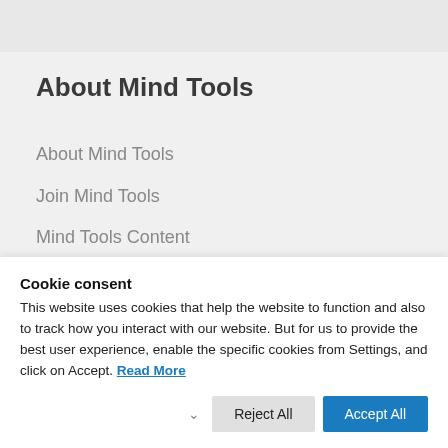About Mind Tools
About Mind Tools
Join Mind Tools
Mind Tools Content
Club Member Stories
FAQs
Contact Us
Cookie consent
This website uses cookies that help the website to function and also to track how you interact with our website. But for us to provide the best user experience, enable the specific cookies from Settings, and click on Accept. Read More